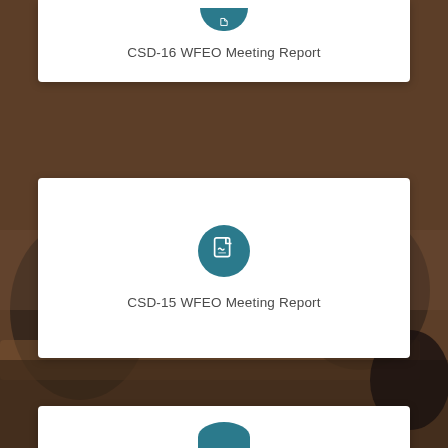[Figure (other): White card with partially visible PDF icon (teal circle, bottom half visible at top) and text 'CSD-16 WFEO Meeting Report']
CSD-16 WFEO Meeting Report
[Figure (photo): Background photo of people seated at a meeting or conference table, dimly lit, muted brown tones]
[Figure (other): White card with teal circular PDF icon and text 'CSD-15 WFEO Meeting Report']
CSD-15 WFEO Meeting Report
[Figure (other): Partially visible white card at bottom with teal circular PDF icon partially visible]